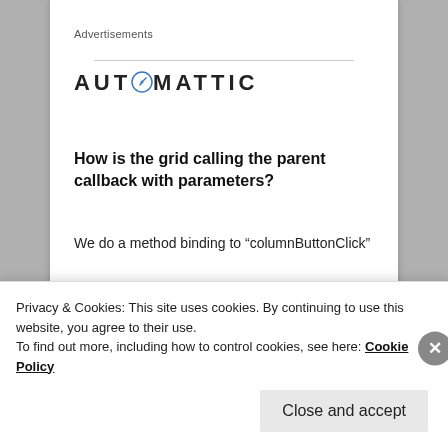Advertisements
[Figure (logo): Automattic logo with compass/clock icon replacing the letter O]
How is the grid calling the parent callback with parameters?
We do a method binding to “columnButtonClick”
Privacy & Cookies: This site uses cookies. By continuing to use this website, you agree to their use.
To find out more, including how to control cookies, see here: Cookie Policy
Close and accept